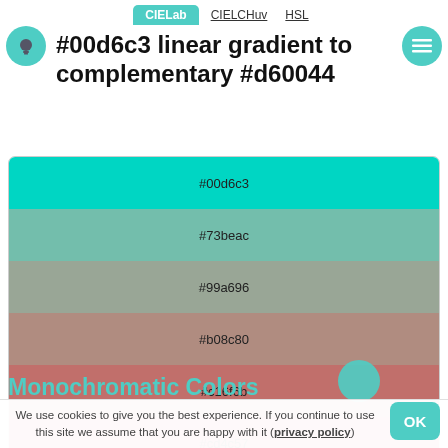CIELab  CIELCHuv  HSL
#00d6c3 linear gradient to complementary #d60044
[Figure (infographic): Linear gradient color swatches from #00d6c3 (teal) to #d60044 (crimson) with 7 steps: #00d6c3, #73beac, #99a696, #b08c80, #c16f6b, #cd4c57, #d60044]
Monochromatic Colors
We use cookies to give you the best experience. If you continue to use this site we assume that you are happy with it (privacy policy)